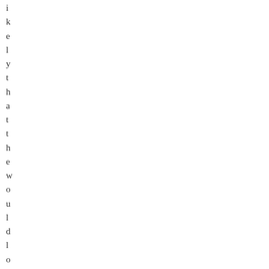ikelythatthewould lose that youco